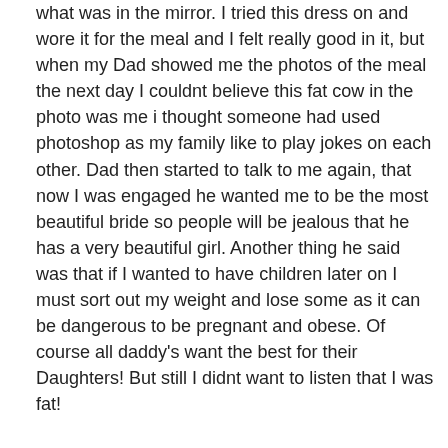what was in the mirror. I tried this dress on and wore it for the meal and I felt really good in it, but when my Dad showed me the photos of the meal the next day I couldnt believe this fat cow in the photo was me i thought someone had used photoshop as my family like to play jokes on each other. Dad then started to talk to me again, that now I was engaged he wanted me to be the most beautiful bride so people will be jealous that he has a very beautiful girl. Another thing he said was that if I wanted to have children later on I must sort out my weight and lose some as it can be dangerous to be pregnant and obese. Of course all daddy's want the best for their Daughters! But still I didnt want to listen that I was fat!

I took my Mom and Dad to the airport and I started thinking I really have to do something about this they cant all be lying? , I started by weighing myself and couldnt believe that I weighed 95.7kg and at 165cm this is far too heavy. I had never EVER been this weight in my life and it...